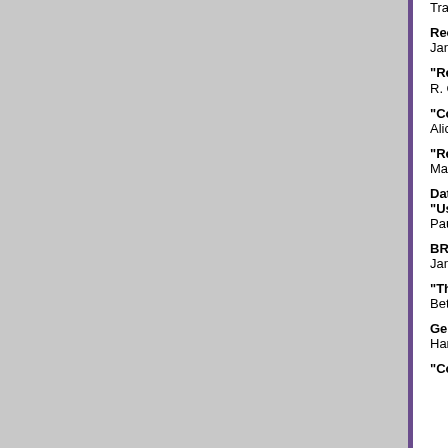Tracy L. Finlayson, PhD, University of Mic
Recent Advances in the Fluoride Legacy: Herschel S. Horowitz Memorial Symposium
Jane A. Weintraub, DDS, MPH, University
"Recent Advances in the Fluoride Legacy: Fluoride Varnish" - PDF
R. Gary Rozier, DDS, University of North C
"Comparison of Fluoride Varnish with O
Alice M. Horowitz, PhD, National Institute
"Recent Advances in the Fluoride Legacy
Mark Siegal, DDS, MPH, Ohio Department
Data Resources for Public Health Action: Finding and Using Data Resources
"Using the Behavioral Risk Factor Survey for Oral Health Surveillance and Research"
Paul Eke, PhD, MPH, PhD, Centers for Di
BRFSS Maps: Visualizing Oral Health S
James Holt, MPA, PhD, Centers for Disease
"The Burden of Oral Disease, Building A
Beth Hines, RDH, MPH, Centers for Disease
Genetic Epidemiology or Genetics 102
Harold C. Slavkin, DDS, University of Sou
"Complex Traits and Normal Variation: